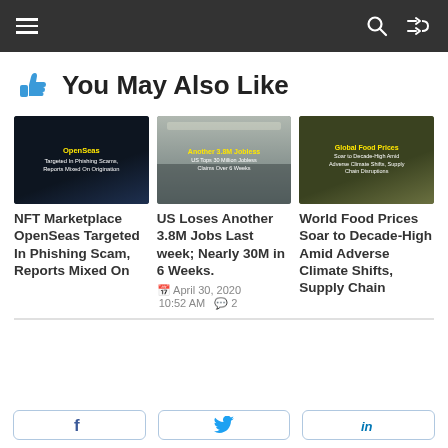Navigation bar with menu, search, and shuffle icons
👍 You May Also Like
[Figure (screenshot): Thumbnail image for NFT Marketplace OpenSeas article with dark blue background and yellow/white text overlay]
NFT Marketplace OpenSeas Targeted In Phishing Scam, Reports Mixed On
[Figure (screenshot): Thumbnail image for US Loses Another 3.8M Jobs article, showing people in an indoor space]
US Loses Another 3.8M Jobs Last week; Nearly 30M in 6 Weeks.
April 30, 2020 10:52 AM 💬 2
[Figure (screenshot): Thumbnail image for World Food Prices article with dark olive background and yellow/white text overlay]
World Food Prices Soar to Decade-High Amid Adverse Climate Shifts, Supply Chain
Share buttons: Facebook, Twitter, LinkedIn